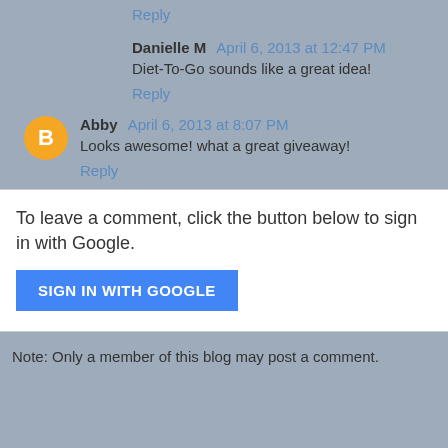Reply
Danielle M April 6, 2013 at 12:47 PM
Diet-To-Go sounds like a great idea!
Reply
Abby April 6, 2013 at 8:07 PM
Looks awesome! what a great giveaway!
Reply
To leave a comment, click the button below to sign in with Google.
SIGN IN WITH GOOGLE
Note: Only a member of this blog may post a comment.